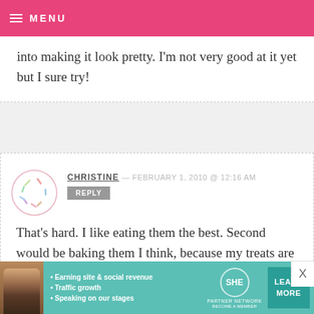MENU
into making it look pretty. I'm not very good at it yet but I sure try!
CHRISTINE — FEBRUARY 1, 2010 @ 12:16 AM
REPLY
That's hard. I like eating them the best. Second would be baking them I think, because my treats are tasty, but I haven't mastered the pretty yet. :)
[Figure (infographic): SHE Partner Network advertisement banner with bullet points: Earning site & social revenue, Traffic growth, Speaking on our stages. Includes LEARN MORE button.]